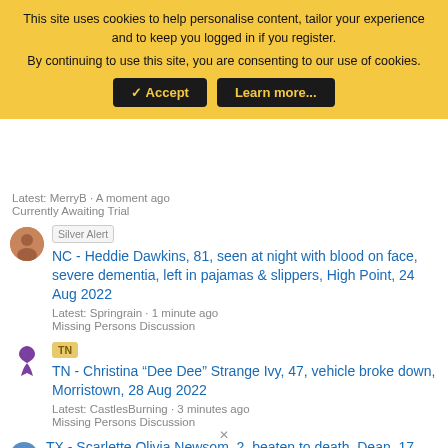This site uses cookies to help personalise content, tailor your experience and to keep you logged in if you register. By continuing to use this site, you are consenting to our use of cookies. [Accept] [Learn more...]
Latest: MerryB · A moment ago
Currently Awaiting Trial
Silver Alert | NC - Heddie Dawkins, 81, seen at night with blood on face, severe dementia, left in pajamas & slippers, High Point, 24 Aug 2022 | Latest: Springrain · 1 minute ago | Missing Persons Discussion
TN | TN - Christina "Dee Dee" Strange Ivy, 47, vehicle broke down, Morristown, 28 Aug 2022 | Latest: CastlesBurning · 3 minutes ago | Missing Persons Discussion
TX - Scarlette Olivia Newsom, 2, beaten to death, Dean, 17